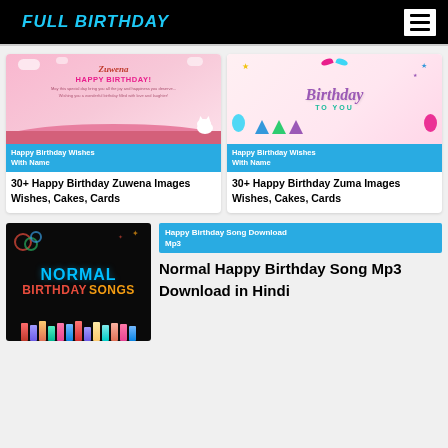FULL BIRTHDAY
[Figure (photo): Pink birthday card with Hello Kitty - Happy Birthday Zuwena]
Happy Birthday Wishes With Name
30+ Happy Birthday Zuwena Images Wishes, Cakes, Cards
[Figure (photo): Colorful birthday card with balloons and party hats - Birthday To You]
Happy Birthday Wishes With Name
30+ Happy Birthday Zuma Images Wishes, Cakes, Cards
[Figure (photo): Dark background with Normal Birthday Songs text and birthday candles]
Happy Birthday Song Download Mp3
Normal Happy Birthday Song Mp3 Download in Hindi